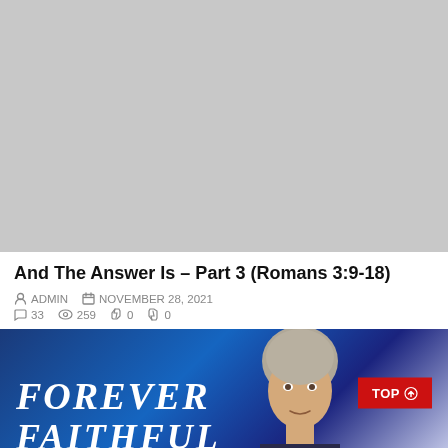[Figure (photo): Gray placeholder thumbnail image for a video or article]
And The Answer Is – Part 3 (Romans 3:9-18)
ADMIN  NOVEMBER 28, 2021  33  259  0  0
[Figure (photo): Dark blue background image with bold italic white text reading FOREVER FAITHFUL, a man's face visible on the right, and a red TOP button with arrow in the upper right]